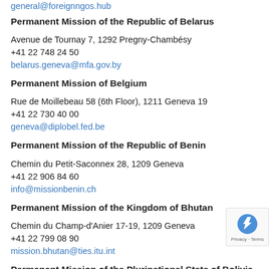general@foreignngos.hub
Permanent Mission of the Republic of Belarus
Avenue de Tournay 7, 1292 Pregny-Chambésy
+41 22 748 24 50
belarus.geneva@mfa.gov.by
Permanent Mission of Belgium
Rue de Moillebeau 58 (6th Floor), 1211 Geneva 19
+41 22 730 40 00
geneva@diplobel.fed.be
Permanent Mission of the Republic of Benin
Chemin du Petit-Saconnex 28, 1209 Geneva
+41 22 906 84 60
info@missionbenin.ch
Permanent Mission of the Kingdom of Bhutan
Chemin du Champ-d'Anier 17-19, 1209 Geneva
+41 22 799 08 90
mission.bhutan@ties.itu.int
Permanent Mission of the Plurinational State of Bolivia
15 Avenue de Secheron (5 floor), 1202 Geneva
+41 22 908 07 17
contact@mission-bolivia.ch